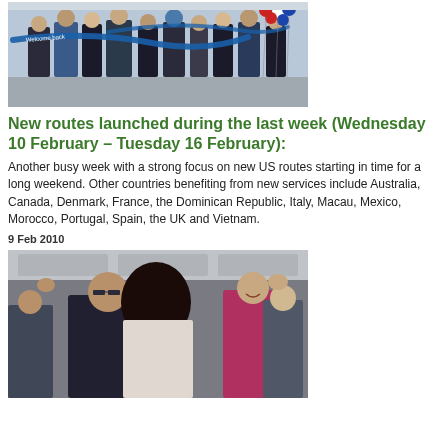[Figure (photo): People at a ribbon-cutting ceremony inside an airport terminal, with a blue 'Welcome back' ribbon/sash and colorful balloons in the background.]
New routes launched during the last week (Wednesday 10 February – Tuesday 16 February):
Another busy week with a strong focus on new US routes starting in time for a long weekend. Other countries benefiting from new services include Australia, Canada, Denmark, France, the Dominican Republic, Italy, Macau, Mexico, Morocco, Portugal, Spain, the UK and Vietnam.
9 Feb 2010
[Figure (photo): A couple kissing on board an airplane, surrounded by other passengers smiling and applauding, with a woman in a pink/magenta jacket visible on the right.]